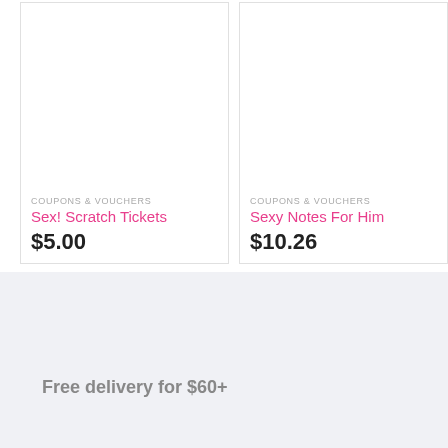COUPONS & VOUCHERS
Sex! Scratch Tickets
$5.00
COUPONS & VOUCHERS
Sexy Notes For Him
$10.26
Free delivery for $60+